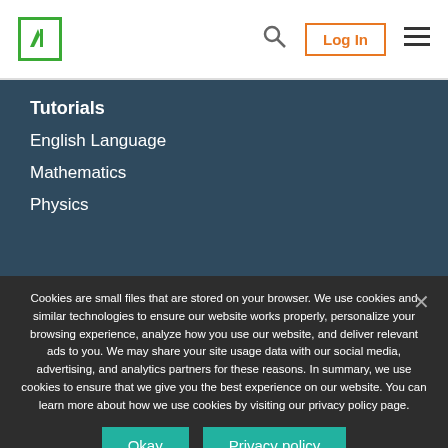Logo | Search | Log In | Menu
Tutorials
English Language
Mathematics
Physics
Cookies are small files that are stored on your browser. We use cookies and similar technologies to ensure our website works properly, personalize your browsing experience, analyze how you use our website, and deliver relevant ads to you. We may share your site usage data with our social media, advertising, and analytics partners for these reasons. In summary, we use cookies to ensure that we give you the best experience on our website. You can learn more about how we use cookies by visiting our privacy policy page.